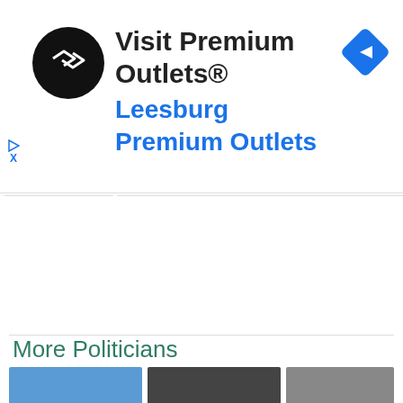[Figure (screenshot): Advertisement banner for Visit Premium Outlets / Leesburg Premium Outlets, with a black circular logo with double arrow symbol, blue navigation diamond icon, and small ad control icons (play triangle and X).]
ADVERTISEMENT
More Politicians